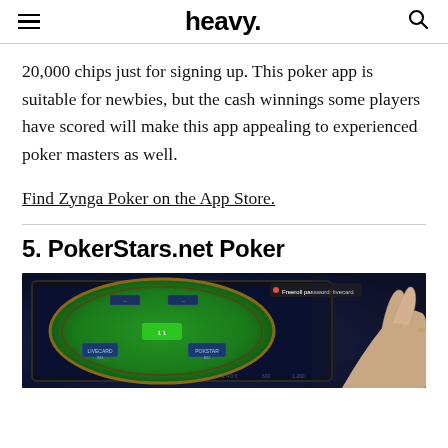heavy.
20,000 chips just for signing up. This poker app is suitable for newbies, but the cash winnings some players have scored will make this app appealing to experienced poker masters as well.
Find Zynga Poker on the App Store.
5. PokerStars.net Poker
[Figure (screenshot): Screenshot of PokerStars.net Poker app showing a poker table on a tablet device being touched by a hand. A 'Freeroll password: livecard' badge is visible in the top right of the screen.]